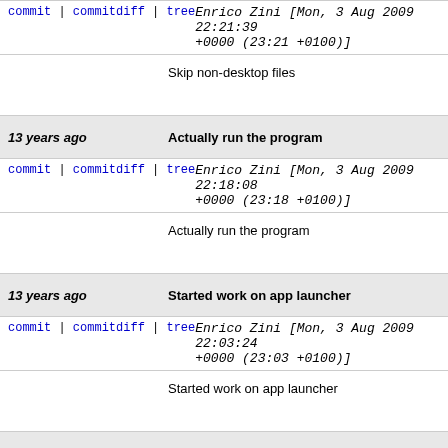commit | commitdiff | tree   Enrico Zini [Mon, 3 Aug 2009 22:21:39 +0000 (23:21 +0100)]
Skip non-desktop files
13 years ago   Actually run the program
commit | commitdiff | tree   Enrico Zini [Mon, 3 Aug 2009 22:18:08 +0000 (23:18 +0100)]
Actually run the program
13 years ago   Started work on app launcher
commit | commitdiff | tree   Enrico Zini [Mon, 3 Aug 2009 22:03:24 +0000 (23:03 +0100)]
Started work on app launcher
13 years ago   Get the home dir from the environment
commit | commitdiff | tree   Enrico Zini [Mon, 3 Aug 2009 22:02:35 +0000 (23:02 +0100)]
Get the home dir from the environment
13 years ago   Added set-monitor python astellite monitor